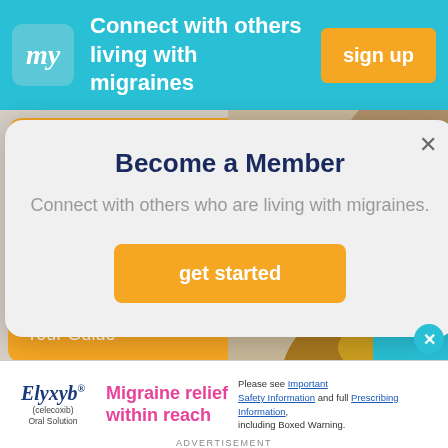[Figure (screenshot): Top navigation banner with 'my' logo, text 'Connect with others living with migraines', and orange 'sign up' button on teal/cyan background]
[Figure (photo): Article preview image showing orange card with 'for Migraine Your Guide' text and wooden spoons with supplements/capsules on right side]
Become a Member
Connect with others who are living with migraines.
[Figure (screenshot): Orange 'get started' button inside modal dialog]
[Figure (screenshot): Elyxyb (celecoxib) Oral Solution advertisement - Migraine relief within reach, with Important Safety Information and Prescribing Information links]
ADVERTISEMENT